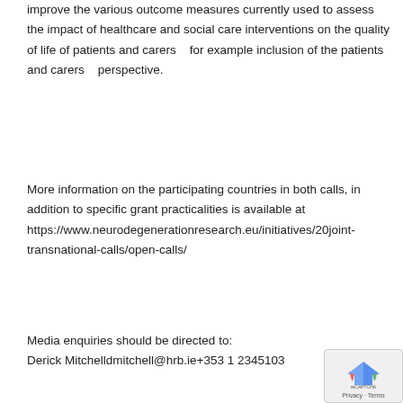improve the various outcome measures currently used to assess the impact of healthcare and social care interventions on the quality of life of patients and carers   for example inclusion of the patients   and carers   perspective.
More information on the participating countries in both calls, in addition to specific grant practicalities is available at https://www.neurodegenerationresearch.eu/initiatives/20joint-transnational-calls/open-calls/
Media enquiries should be directed to: Derick Mitchelldmitchell@hrb.ie+353 1 2345103